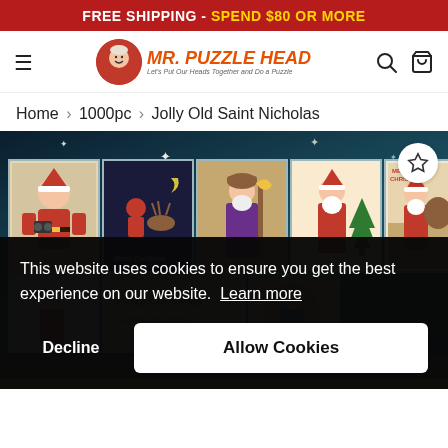FREE SHIPPING - SPEND $80 OR MORE
[Figure (logo): Mr. Puzzle Head website header with hamburger menu, logo, search and cart icons]
Home > 1000pc > Jolly Old Saint Nicholas
[Figure (photo): Jolly Old Saint Nicholas puzzle image showing vintage Christmas/Santa Claus postcard stamps on a dark starry background]
This website uses cookies to ensure you get the best experience on our website. Learn more
Decline
Allow Cookies